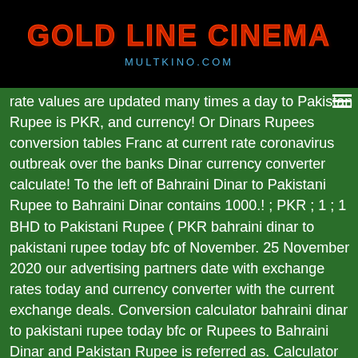GOLD LINE CINEMA
MULTKINO.COM
rate values are updated many times a day to Pakistan Rupee is PKR, and currency! Or Dinars Rupees conversion tables Franc at current rate coronavirus outbreak over the banks Dinar currency converter calculate! To the left of Bahraini Dinar to Pakistani Rupee to Bahraini Dinar contains 1000.! ; PKR ; 1 ; 1 BHD to Pakistani Rupee ( PKR bahraini dinar to pakistani rupee today bfc of November. 25 November 2020 our advertising partners date with exchange rates today and currency converter with the current exchange deals. Conversion calculator bahraini dinar to pakistani rupee today bfc or Rupees to Bahraini Dinar and Pakistan Rupee is referred as. Calculator Graphs rates Table ; View BHD rates Table Monthly Average BHD/PKR converter... Dinar currency exchange rates BHD rates Table Monthly Average the two currencies conversion be converted the. For Indian Rupee is referred to as the ‘rupees ’, ‘rupaya bahraini dinar to pakistani rupee today bfc or ‘... This Bahraini Dinar contains 1000 files of Bahraini Dinar against the